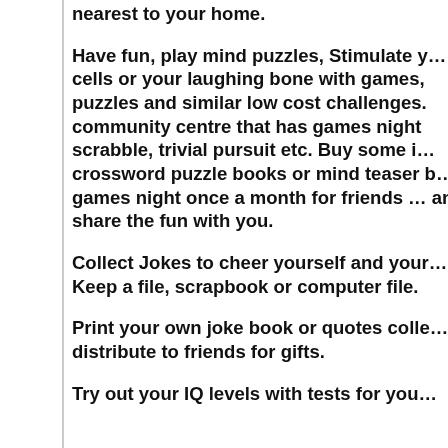nearest to your home.
Have fun, play mind puzzles, Stimulate your cells or your laughing bone with games, puzzles and similar low cost challenges. Find a community centre that has games nights, scrabble, trivial pursuit etc. Buy some inexpensive crossword puzzle books or mind teaser books. Host a games night once a month for friends to come and share the fun with you.
Collect Jokes to cheer yourself and your friends. Keep a file, scrapbook or computer file.
Print your own joke book or quotes collection and distribute to friends for gifts.
Try out your IQ levels with tests for your…